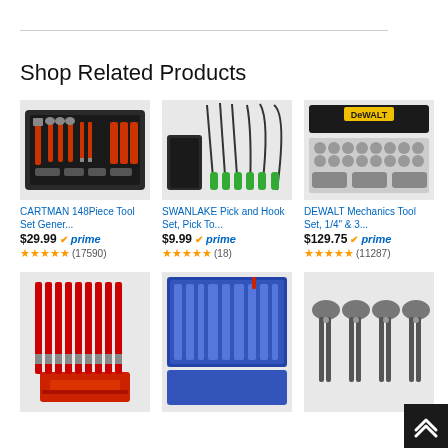Shop Related Products
[Figure (photo): CARTMAN 148-piece tool set in a black case with red-handled tools]
CARTMAN 148Piece Tool Set Gener...
$29.99 prime (17590)
[Figure (photo): SWANLAKE Pick and Hook Set with green-handled long picks in a roll case]
SWANLAKE Pick and Hook Set, Pick To...
$9.99 prime (18)
[Figure (photo): DEWALT Mechanics Tool Set in yellow and black case with socket set]
DEWALT Mechanics Tool Set, 1/4" & 3...
$129.75 prime (11287)
[Figure (photo): Red-handled screwdriver set with stand and bits]
[Figure (photo): Blue automotive trim removal tool set in blue roll case]
[Figure (photo): Set of pliers with various types arranged in a row]